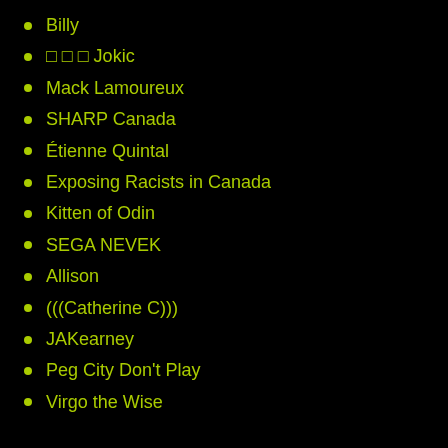Billy
□ □ □ Jokic
Mack Lamoureux
SHARP Canada
Étienne Quintal
Exposing Racists in Canada
Kitten of Odin
SEGA NEVEK
Allison
(((Catherine C)))
JAKearney
Peg City Don't Play
Virgo the Wise